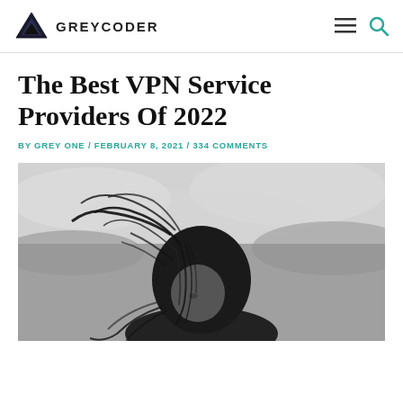GREYCODER
The Best VPN Service Providers Of 2022
BY GREY ONE / FEBRUARY 8, 2021 / 334 COMMENTS
[Figure (photo): Black and white photo of a woman with wind-blown hair covering her face, taken against a cloudy sky background]